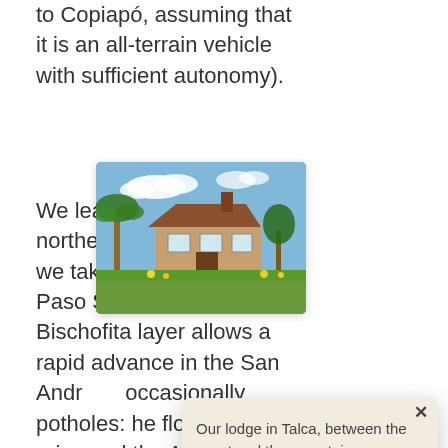to Copiapó, assuming that it is an all-terrain vehicle with sufficient autonomy).
We leave Copiapó to go northeast and after 16 km we take Route 31 towards Paso San Francisco. The Bischofita layer allows a rapid advance in the San Andes... occasionally potholes: he flood in 2015 rains and the Andes Mountain range fell to the valley and destroyed
[Figure (photo): A popup advertisement showing a lodge house surrounded by trees and gardens in Talca, with the Casa Oveda logo and a red 'Our offers' button]